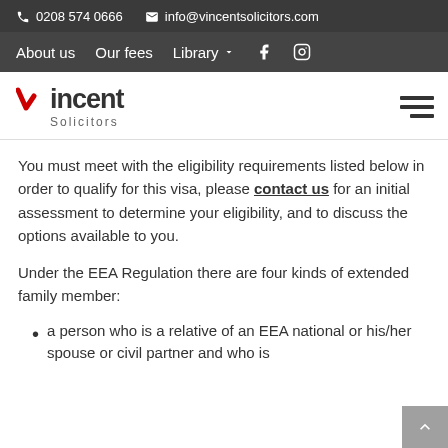📞 0208 574 0666   ✉ info@vincentsolicitors.com
About us   Our fees   Library ▾   f   🔲
Vincent Solicitors
You must meet with the eligibility requirements listed below in order to qualify for this visa, please contact us for an initial assessment to determine your eligibility, and to discuss the options available to you.
Under the EEA Regulation there are four kinds of extended family member:
a person who is a relative of an EEA national or his/her spouse or civil partner and who is